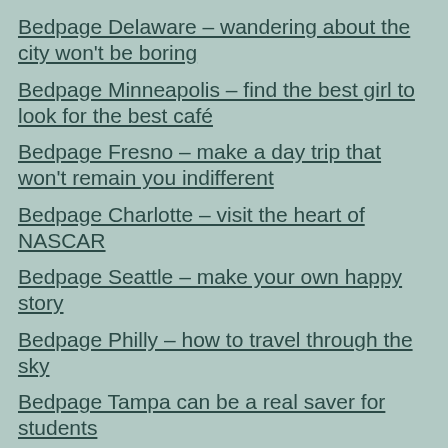Bedpage Delaware – wandering about the city won't be boring
Bedpage Minneapolis – find the best girl to look for the best café
Bedpage Fresno – make a day trip that won't remain you indifferent
Bedpage Charlotte – visit the heart of NASCAR
Bedpage Seattle – make your own happy story
Bedpage Philly – how to travel through the sky
Bedpage Tampa can be a real saver for students
Bedpage San Fernando can bring you back to past
Bedpage San Antonio – a way to develop artistic talent